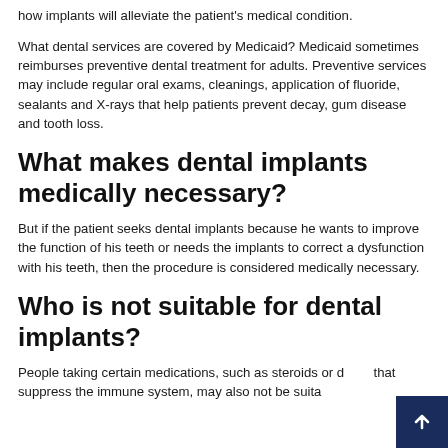how implants will alleviate the patient's medical condition.
What dental services are covered by Medicaid? Medicaid sometimes reimburses preventive dental treatment for adults. Preventive services may include regular oral exams, cleanings, application of fluoride, sealants and X-rays that help patients prevent decay, gum disease and tooth loss.
What makes dental implants medically necessary?
But if the patient seeks dental implants because he wants to improve the function of his teeth or needs the implants to correct a dysfunction with his teeth, then the procedure is considered medically necessary.
Who is not suitable for dental implants?
People taking certain medications, such as steroids or drugs that suppress the immune system, may also not be suitable…